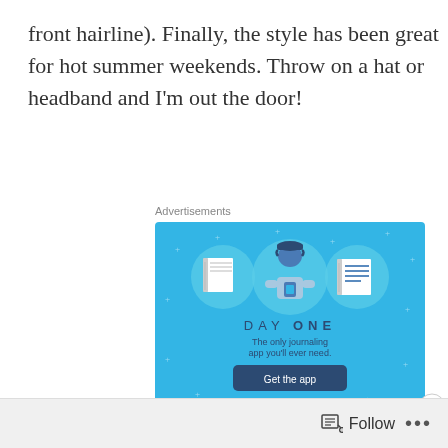front hairline). Finally, the style has been great for hot summer weekends. Throw on a hat or headband and I'm out the door!
Advertisements
[Figure (illustration): Day One journaling app advertisement on a blue background. Shows three circular icons with notebook illustrations and a person holding a phone. Text reads: DAY ONE - The only journaling app you'll ever need. Get the app button.]
Advertisements
Follow ...